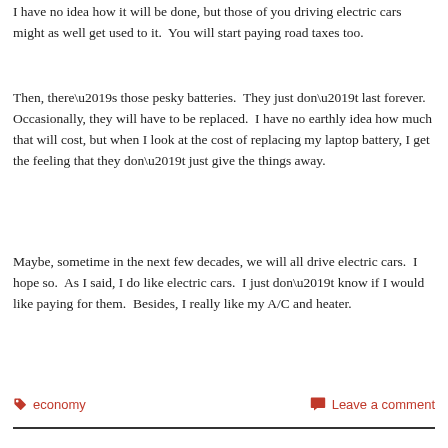I have no idea how it will be done, but those of you driving electric cars might as well get used to it.  You will start paying road taxes too.
Then, there’s those pesky batteries.  They just don’t last forever.  Occasionally, they will have to be replaced.  I have no earthly idea how much that will cost, but when I look at the cost of replacing my laptop battery, I get the feeling that they don’t just give the things away.
Maybe, sometime in the next few decades, we will all drive electric cars.  I hope so.  As I said, I do like electric cars.  I just don’t know if I would like paying for them.  Besides, I really like my A/C and heater.
economy   Leave a comment